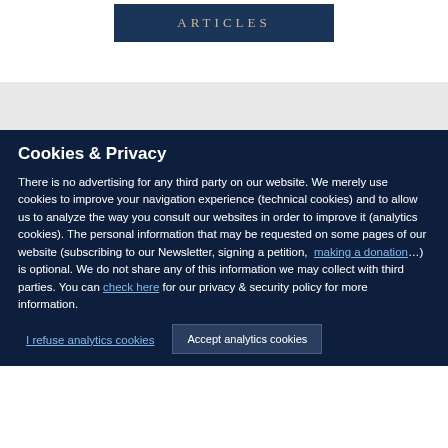ARTICLES
Cookies & Privacy
There is no advertising for any third party on our website. We merely use cookies to improve your navigation experience (technical cookies) and to allow us to analyze the way you consult our websites in order to improve it (analytics cookies). The personal information that may be requested on some pages of our website (subscribing to our Newsletter, signing a petition, making a donation…) is optional. We do not share any of this information we may collect with third parties. You can check here for our privacy & security policy for more information.
I refuse analytics cookies
Accept analytics cookies